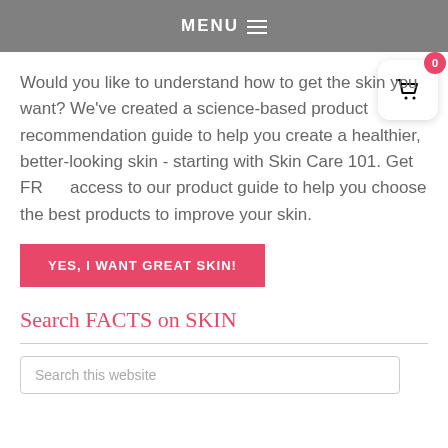MENU
Would you like to understand how to get the skin you want? We've created a science-based product recommendation guide to help you create a healthier, better-looking skin - starting with Skin Care 101. Get FR access to our product guide to help you choose the best products to improve your skin.
YES, I WANT GREAT SKIN!
Search FACTS on SKIN
Search this website